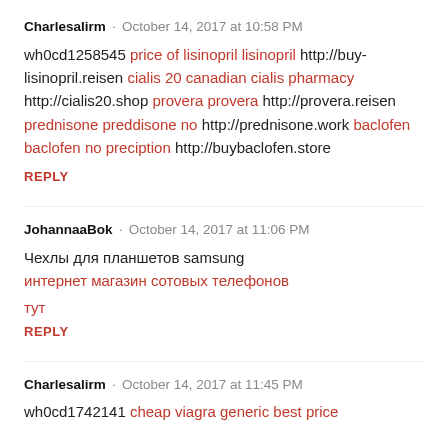Charlesalirm · October 14, 2017 at 10:58 PM
wh0cd1258545 price of lisinopril lisinopril http://buy-lisinopril.reisen cialis 20 canadian cialis pharmacy http://cialis20.shop provera provera http://provera.reisen prednisone preddisone no http://prednisone.work baclofen baclofen no preciption http://buybaclofen.store
REPLY
JohannaaBok · October 14, 2017 at 11:06 PM
Чехлы для планшетов samsung интернет магазин сотовых телефонов
тут
REPLY
Charlesalirm · October 14, 2017 at 11:45 PM
wh0cd1742141 cheap viagra generic best price